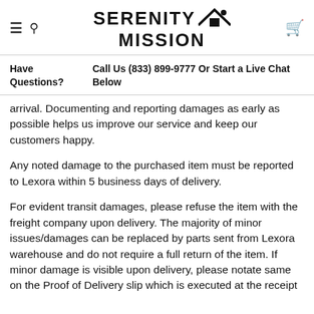Serenity Mission logo with navigation icons
Have Questions?  Call Us (833) 899-9777 Or Start a Live Chat Below
arrival. Documenting and reporting damages as early as possible helps us improve our service and keep our customers happy.
Any noted damage to the purchased item must be reported to Lexora within 5 business days of delivery.
For evident transit damages, please refuse the item with the freight company upon delivery. The majority of minor issues/damages can be replaced by parts sent from Lexora warehouse and do not require a full return of the item. If minor damage is visible upon delivery, please notate same on the Proof of Delivery slip which is executed at the receipt